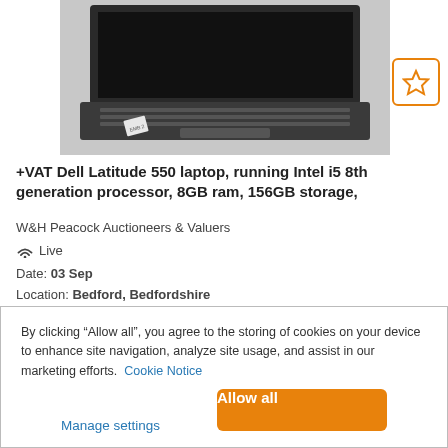[Figure (photo): A Dell Latitude laptop photographed from above, showing keyboard and trackpad, with a white sticker on the palm rest, on a light surface.]
+VAT Dell Latitude 550 laptop, running Intel i5 8th generation processor, 8GB ram, 156GB storage,
W&H Peacock Auctioneers & Valuers
Live
Date: 03 Sep
Location: Bedford, Bedfordshire
By clicking “Allow all”, you agree to the storing of cookies on your device to enhance site navigation, analyze site usage, and assist in our marketing efforts. Cookie Notice
Manage settings
Allow all